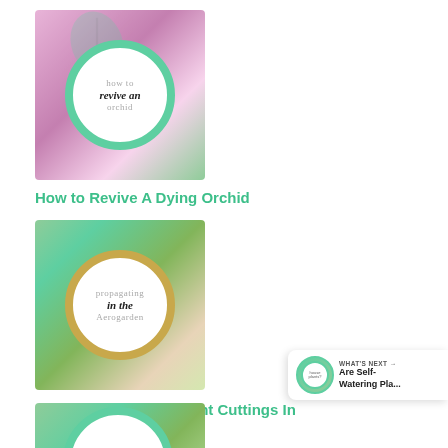[Figure (photo): Thumbnail image for 'How to Revive A Dying Orchid' with circular green-bordered badge overlay on orchid flowers background]
How to Revive A Dying Orchid
[Figure (photo): Thumbnail image for 'Propagating House Plant Cuttings In Aerogarden' with circular gold-bordered badge overlay on green plant background]
Propagating House Plant Cuttings In Aerogarden
[Figure (photo): Partial thumbnail image at bottom of page, green circular badge visible, plant background]
[Figure (infographic): What's Next panel: Are Self-Watering Pla... with small circular thumbnail]
[Figure (infographic): Heart/favorite button (blue circle with heart icon) and share button (white circle with share icon)]